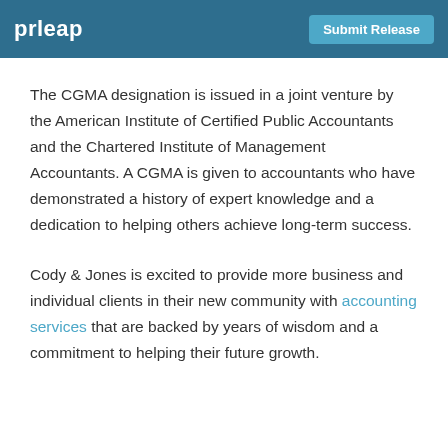prleap | Submit Release
The CGMA designation is issued in a joint venture by the American Institute of Certified Public Accountants and the Chartered Institute of Management Accountants. A CGMA is given to accountants who have demonstrated a history of expert knowledge and a dedication to helping others achieve long-term success.
Cody & Jones is excited to provide more business and individual clients in their new community with accounting services that are backed by years of wisdom and a commitment to helping their future growth.